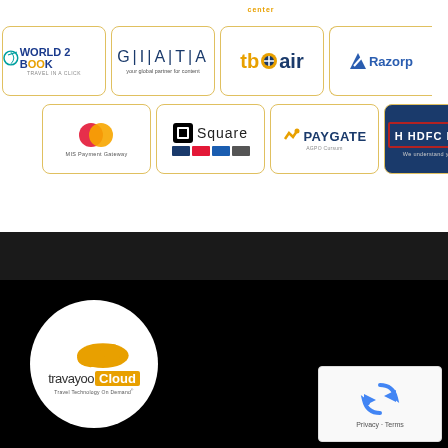[Figure (logo): World 2 Book logo - travel booking brand in teal/blue]
[Figure (logo): GIATA logo - your global partner for content]
[Figure (logo): tboair logo - orange and blue airline booking brand]
[Figure (logo): Razorpay logo - blue payment brand]
[Figure (logo): MasterCard logo - MIS Payment Gateway]
[Figure (logo): Square payment logo with card brand icons]
[Figure (logo): PAYGATE AGPO Cursum logo]
[Figure (logo): HDFC Bank logo - We understand your world]
[Figure (logo): travayoo Cloud - Travel Technology On Demand logo in white circle on black background]
[Figure (other): reCAPTCHA widget with Privacy and Terms links]